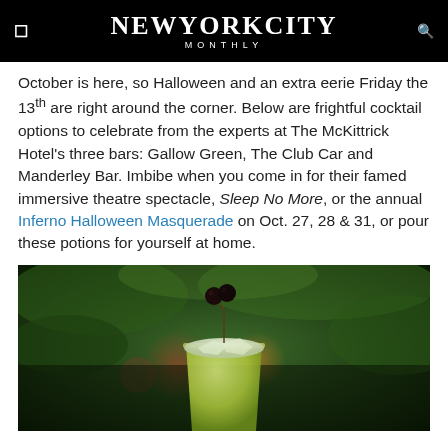New York City Monthly
October is here, so Halloween and an extra eerie Friday the 13th are right around the corner. Below are frightful cocktail options to celebrate from the experts at The McKittrick Hotel's three bars: Gallow Green, The Club Car and Manderley Bar. Imbibe when you come in for their famed immersive theatre spectacle, Sleep No More, or the annual Inferno Halloween Masquerade on Oct. 27, 28 & 31, or pour these potions for yourself at home.
[Figure (photo): A cocktail glass filled with a yellow-green drink topped with crushed ice and two dark cherries on a pick, photographed outdoors with a blurred green background and colorful bokeh lights.]